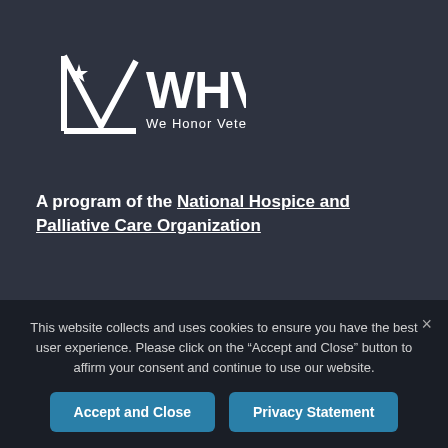[Figure (logo): WHV We Honor Veterans logo with stylized V shape and star]
A program of the National Hospice and Palliative Care Organization
Contact Us
Email Us
Newsletter
This website collects and uses cookies to ensure you have the best user experience. Please click on the “Accept and Close” button to affirm your consent and continue to use our website.
Accept and Close
Privacy Statement